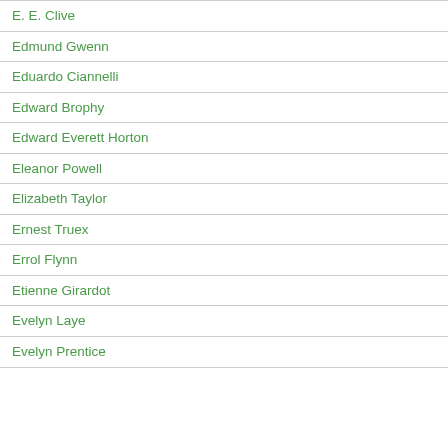E. E. Clive
Edmund Gwenn
Eduardo Ciannelli
Edward Brophy
Edward Everett Horton
Eleanor Powell
Elizabeth Taylor
Ernest Truex
Errol Flynn
Etienne Girardot
Evelyn Laye
Evelyn Prentice